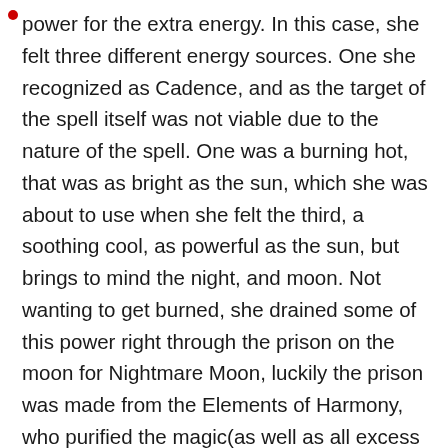power for the extra energy. In this case, she felt three different energy sources. One she recognized as Cadence, and as the target of the spell itself was not viable due to the nature of the spell. One was a burning hot, that was as bright as the sun, which she was about to use when she felt the third, a soothing cool, as powerful as the sun, but brings to mind the night, and moon. Not wanting to get burned, she drained some of this power right through the prison on the moon for Nightmare Moon, luckily the prison was made from the Elements of Harmony, who purified the magic(as well as all excess magic from the air around Nightmare Moon which is what Twilight had sensed) as it was pulled through it, returning it to that of the long lost(and possessed) Princess Luna.